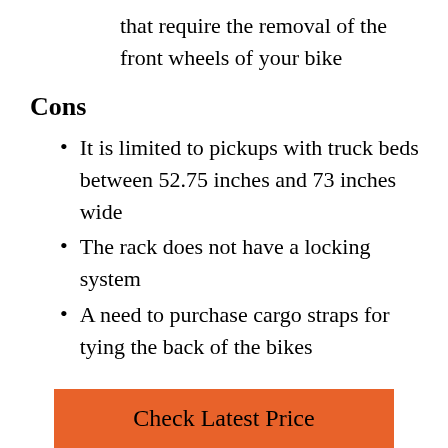that require the removal of the front wheels of your bike
Cons
It is limited to pickups with truck beds between 52.75 inches and 73 inches wide
The rack does not have a locking system
A need to purchase cargo straps for tying the back of the bikes
Check Latest Price